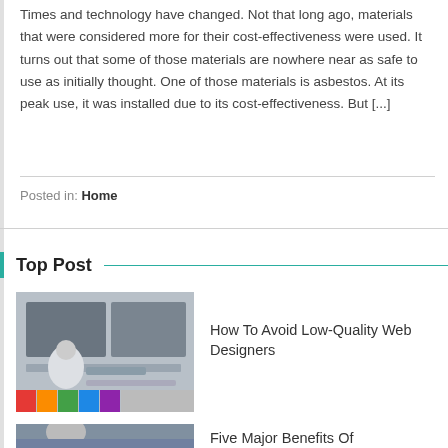Times and technology have changed. Not that long ago, materials that were considered more for their cost-effectiveness were used. It turns out that some of those materials are nowhere near as safe to use as initially thought. One of those materials is asbestos. At its peak use, it was installed due to its cost-effectiveness. But [...]
Posted in: Home
Top Post
How To Avoid Low-Quality Web Designers
Five Major Benefits Of Outsourcing Your Payroll